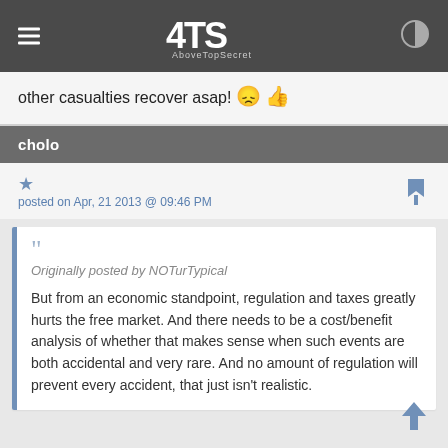ATS AboveTopSecret
other casualties recover asap! 😟 👍
cholo
posted on Apr, 21 2013 @ 09:46 PM
Originally posted by NOTurTypical

But from an economic standpoint, regulation and taxes greatly hurts the free market. And there needs to be a cost/benefit analysis of whether that makes sense when such events are both accidental and very rare. And no amount of regulation will prevent every accident, that just isn't realistic.